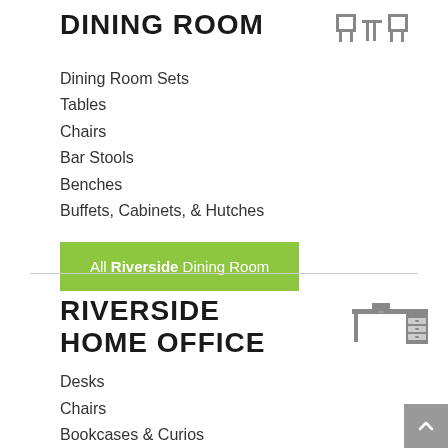DINING ROOM
Dining Room Sets
Tables
Chairs
Bar Stools
Benches
Buffets, Cabinets, & Hutches
All Riverside Dining Room
RIVERSIDE HOME OFFICE
Desks
Chairs
Bookcases & Curios
Cabinets & Chests